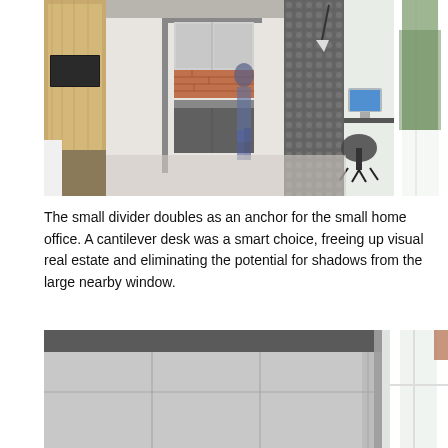[Figure (photo): Interior design photo showing a modern apartment with a wooden wardrobe on the left, a person walking in the background near a kitchen with brick backsplash, a cantilever desk with an iMac and office chair near a large window on the right, concrete floor.]
The small divider doubles as an anchor for the small home office. A cantilever desk was a smart choice, freeing up visual real estate and eliminating the potential for shadows from the large nearby window.
[Figure (photo): Close-up interior photo showing light grey large format tiles on walls with a dark concrete ceiling edge, and a white-framed window on the right side.]